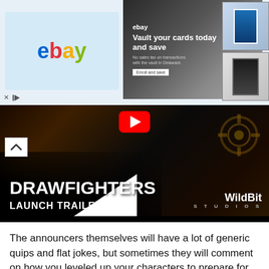[Figure (screenshot): eBay advertisement banner for card vaulting service, showing eBay logo, 'Vault your cards today and save' text, trading cards, and ad controls]
[Figure (screenshot): YouTube video thumbnail for 'DRAWFIGHTERS LAUNCH TRAILER' by WildBit Studios, with red YouTube play button on dark game background]
The announcers themselves will have a lot of generic quips and flat jokes, but sometimes they will comment on how you leveled up your characters to prepare for this fight after you did so, which is a nice touch.
The leader of the gym where you're training is perhaps the most interesting character, but we still don't know much about him. Still, his pep talks are the only real interaction we have with any of the world's characters.